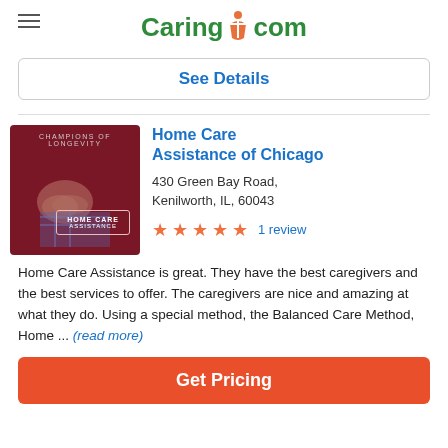Caring.com
See Details
Home Care Assistance of Chicago
430 Green Bay Road, Kenilworth, IL, 60043
1 review
Home Care Assistance is great. They have the best caregivers and the best services to offer. The caregivers are nice and amazing at what they do. Using a special method, the Balanced Care Method, Home ... (read more)
Get Pricing